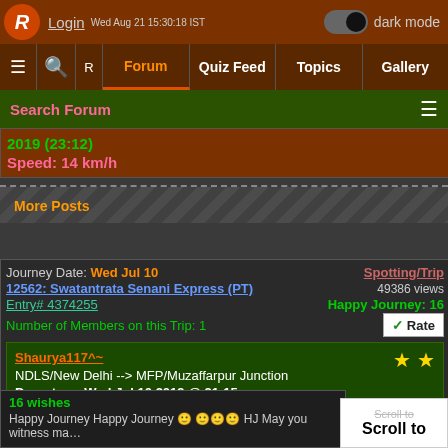Login | dark mode | Wed Aug 21 15:30:18 IST
Forum | Quiz Feed | Topics | Gallery
Search Forum
2019 (23:12)
Speed: 14 km/h
More Posts
Journey Date: Wed Jul 10
12562: Swatantrata Senani Express (PT)
Entry# 4374255
Number of Members on this Trip: 1
Spotting/Trip
49386 views
Happy Journey: 16
Shaurya117^~
NDLS/New Delhi --> MFP/Muzaffarpur Junction
Departure: Wed Jul 10 2019 @ 21:15
Click here to wish Happy Journey
16 wishes
Happy Journey Happy Journey HJ May you witness ma...
Scroll to